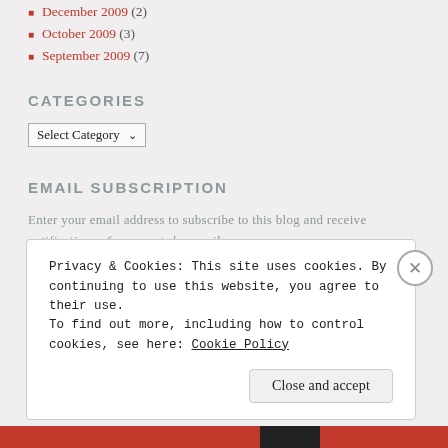December 2009 (2)
October 2009 (3)
September 2009 (7)
CATEGORIES
Select Category
EMAIL SUBSCRIPTION
Enter your email address to subscribe to this blog and receive notifications of new posts by email.
Privacy & Cookies: This site uses cookies. By continuing to use this website, you agree to their use.
To find out more, including how to control cookies, see here: Cookie Policy
Close and accept